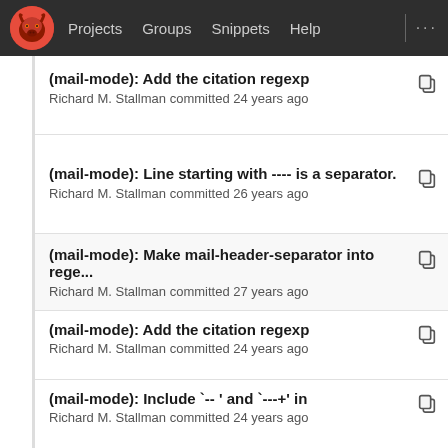Projects  Groups  Snippets  Help
(mail-mode): Add the citation regexp
Richard M. Stallman committed 24 years ago
(mail-mode): Line starting with ---- is a separator.
Richard M. Stallman committed 26 years ago
(mail-mode): Make mail-header-separator into rege...
Richard M. Stallman committed 27 years ago
(mail-mode): Add the citation regexp
Richard M. Stallman committed 24 years ago
(mail-mode): Include `-- ' and `---+' in
Richard M. Stallman committed 24 years ago
(mail-mode): Fix previous change.
Richard M. Stallman committed 25 years ago
(mail-mode): Change paragraph-start and